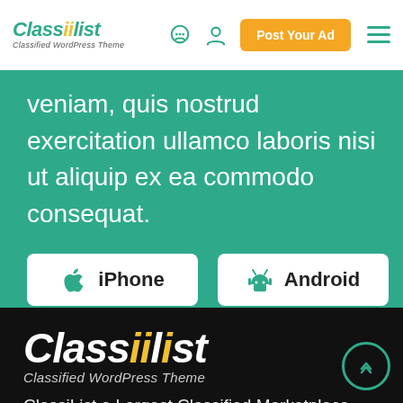Classilist – Classified WordPress Theme | navbar with Post Your Ad button
veniam, quis nostrud exercitation ullamco laboris nisi ut aliquip ex ea commodo consequat.
[Figure (other): iPhone app download button (white rounded rectangle with Apple icon)]
[Figure (other): Android app download button (white rounded rectangle with Android icon)]
[Figure (logo): Classilist logo large white on dark background with subtitle Classified WordPress Theme]
ClassiList a Largest Classified Marketplace offers perfect WordPress Ads classified Themes to build your own classified